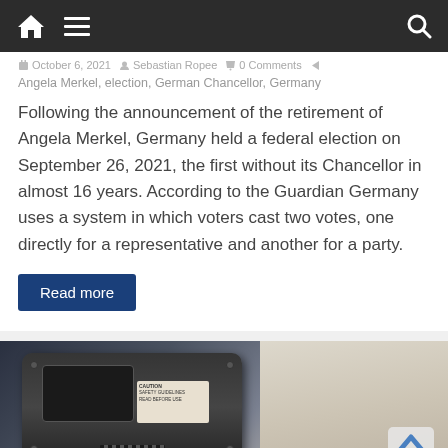Navigation bar with home, menu, and search icons
October 6, 2021  Sebastian Ropee  0 Comments
Angela Merkel, election, German Chancellor, Germany
Following the announcement of the retirement of Angela Merkel, Germany held a federal election on September 26, 2021, the first without its Chancellor in almost 16 years. According to the Guardian Germany uses a system in which voters cast two votes, one directly for a representative and another for a party.
Read more
[Figure (photo): Close-up photo of a vehicle or motorcycle instrument panel/dashboard with a person's hand in a knit sweater visible on the right side. A caution label is visible on the dark device. A back-to-top arrow icon is visible in the lower right.]